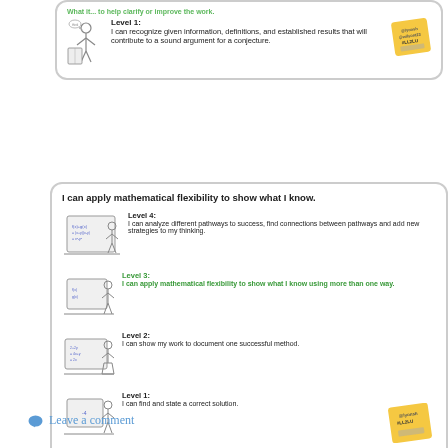[Figure (illustration): Partial top card showing Level 1 description: 'I can recognize given information, definitions, and established results that will contribute to a sound argument for a conjecture.' with a stick figure illustration and a sticky note stamp.]
I can apply mathematical flexibility to show what I know.
[Figure (illustration): Card with four levels for 'I can apply mathematical flexibility to show what I know.' Level 4: I can analyze different pathways to success, find connections between pathways and add new strategies to my thinking. Level 3 (green/highlighted): I can apply mathematical flexibility to show what I know using more than one way. Level 2: I can show my work to document one successful method. Level 1: I can find and state a correct solution. Each level has a stick figure at a chalkboard. A sticky note stamp appears in corner.]
Leave a comment